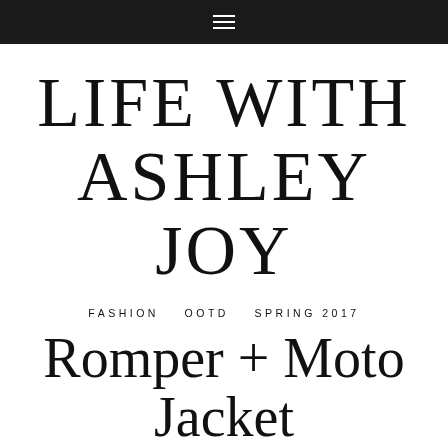≡
LIFE WITH ASHLEY JOY
FASHION   OOTD   SPRING 2017
Romper + Moto Jacket